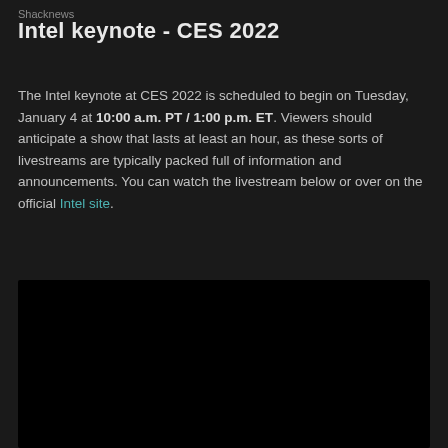Shacknews
Intel keynote - CES 2022
The Intel keynote at CES 2022 is scheduled to begin on Tuesday, January 4 at 10:00 a.m. PT / 1:00 p.m. ET. Viewers should anticipate a show that lasts at least an hour, as these sorts of livestreams are typically packed full of information and announcements. You can watch the livestream below or over on the official Intel site.
[Figure (screenshot): Black video embed placeholder]